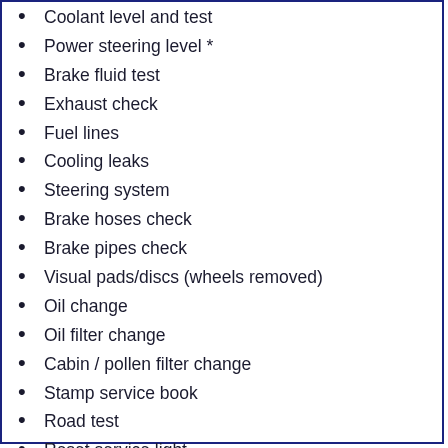Coolant level and test
Power steering level *
Brake fluid test
Exhaust check
Fuel lines
Cooling leaks
Steering system
Brake hoses check
Brake pipes check
Visual pads/discs (wheels removed)
Oil change
Oil filter change
Cabin / pollen filter change
Stamp service book
Road test
Reset service light
Re-torque wheel bolts/nuts
Tyre tread and pressures